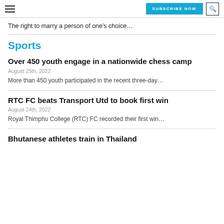SUBSCRIBE NOW | search
The right to marry a person of one’s choice…
Sports
Over 450 youth engage in a nationwide chess camp
August 25th, 2022
More than 450 youth participated in the recent three-day…
RTC FC beats Transport Utd to book first win
August 24th, 2022
Royal Thimphu College (RTC) FC recorded their first win…
Bhutanese athletes train in Thailand